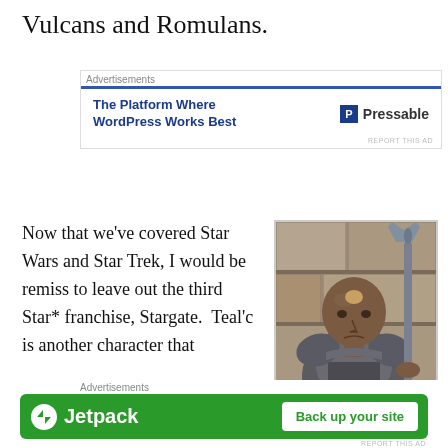Vulcans and Romulans.
[Figure (infographic): Advertisement banner for Pressable: 'The Platform Where WordPress Works Best' with Pressable logo]
Now that we've covered Star Wars and Star Trek, I would be remiss to leave out the third Star* franchise, Stargate.  Teal'c is another character that
[Figure (photo): Photo of Teal'c character from Stargate, a bald man in grey armor holding a Jaffa staff weapon, standing against a stone wall background]
[Figure (infographic): Advertisement banner for Jetpack with green background showing 'Back up your site' button]